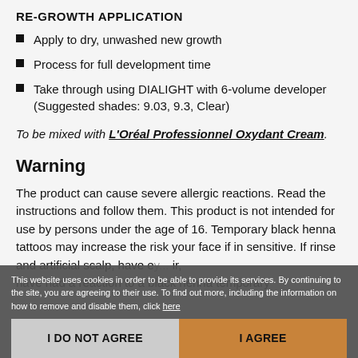RE-GROWTH APPLICATION
Apply to dry, unwashed new growth
Process for full development time
Take through using DIALIGHT with 6-volume developer (Suggested shades: 9.03, 9.3, Clear)
To be mixed with L'Oréal Professionnel Oxydant Cream.
Warning
The product can cause severe allergic reactions. Read the instructions and follow them. This product is not intended for use by persons under the age of 16. Temporary black henna tattoos may increase the risk your face if in sensitive. If rinse and artificial scalp, have e... hair, have had a reaction to a black henna temporary
This website uses cookies in order to be able to provide its services. By continuing to the site, you are agreeing to their use. To find out more, including the information on how to remove and disable them, click here